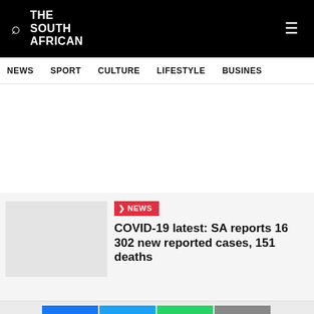THE SOUTH AFRICAN
NEWS  SPORT  CULTURE  LIFESTYLE  BUSINESS
NEWS
COVID-19 latest: SA reports 16 302 new reported cases, 151 deaths